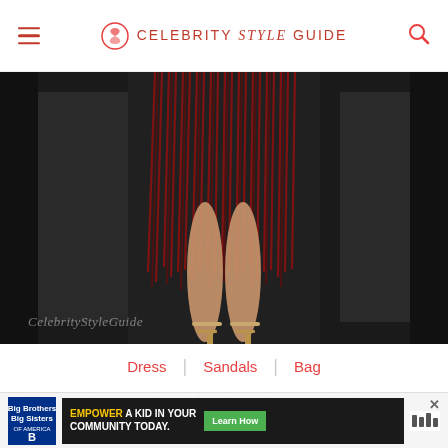Celebrity Style Guide
[Figure (photo): Close-up photo of a person wearing a red fringe suede dress, legs visible with strappy gold sandals. Dark background. CelebrityStyleGuide watermark visible in lower left.]
Dress | Sandals | Bag
Vanessa Hudgens is red hot in a fringe suede dress
[Figure (infographic): Advertisement banner: Big Brothers Big Sisters logo, EMPOWER A KID IN YOUR COMMUNITY TODAY. Learn How button. Additional logos on right.]